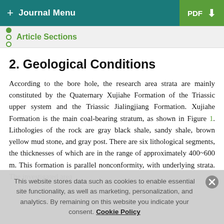+ Journal Menu  PDF ↓
Article Sections
2. Geological Conditions
According to the bore hole, the research area strata are mainly constituted by the Quaternary Xujiahe Formation of the Triassic upper system and the Triassic Jialingjiang Formation. Xujiahe Formation is the main coal-bearing stratum, as shown in Figure 1. Lithologies of the rock are gray black shale, sandy shale, brown yellow mud stone, and gray post. There are six lithological segments, the thicknesses of which are in the range of approximately 400~600 m. This formation is parallel nonconformity, with underlying strata. The investigated area
This website stores data such as cookies to enable essential site functionality, as well as marketing, personalization, and analytics. By remaining on this website you indicate your consent. Cookie Policy